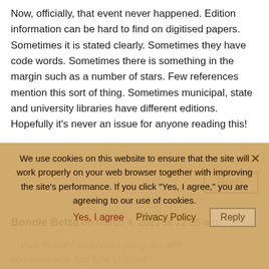Now, officially, that event never happened. Edition information can be hard to find on digitised papers. Sometimes it is stated clearly. Sometimes they have code words. Sometimes there is something in the margin such as a number of stars. Few references mention this sort of thing. Sometimes municipal, state and university libraries have different editions.
Hopefully it's never an issue for anyone reading this!
Reply
Bonnie Belza on March 4, 2021 at 12:36 am
…your thought was about going out with someone who had type O blood?
Reply
We use cookies on this website to ensure that the site will work properly on your web browser together with improving the site's performance. If you click "Yes, I agree," you are agreeing to our use of cookies.
Yes, I agree
Privacy Policy
Reply